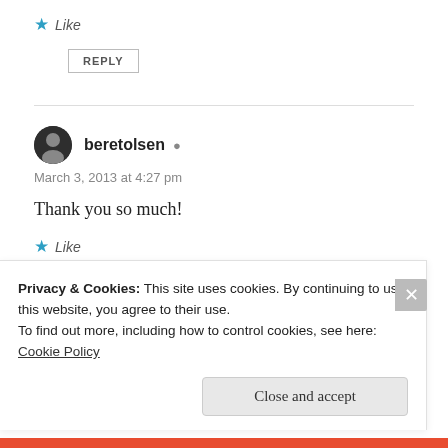★ Like
REPLY
beretolsen
March 3, 2013 at 4:27 pm
Thank you so much!
★ Like
REPLY
Privacy & Cookies: This site uses cookies. By continuing to use this website, you agree to their use.
To find out more, including how to control cookies, see here: Cookie Policy
Close and accept